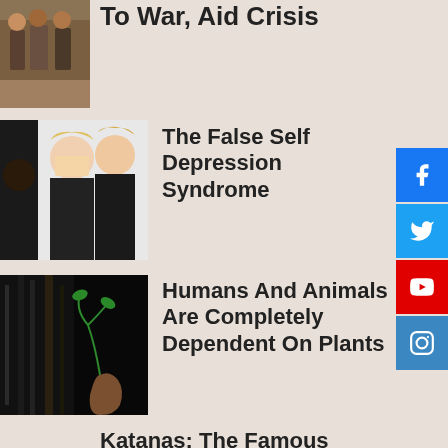[Figure (photo): Partial image of group of children/people outdoors, cropped at top]
To War, Aid Crisis
[Figure (photo): Two blonde women smiling, with a darker partial face on left]
The False Self Depression Syndrome
[Figure (photo): Dark image with tree bark on left and hand holding small plant sprout on right]
Humans And Animals Are Completely Dependent On Plants
Katanas: The Famous Japanese Sumarai Sword With A Deep History